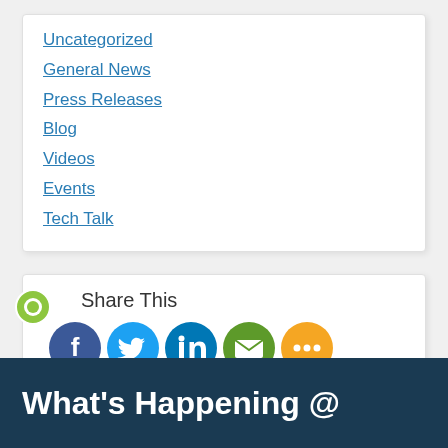Uncategorized
General News
Press Releases
Blog
Videos
Events
Tech Talk
Share This
[Figure (infographic): Social sharing buttons: Facebook, Twitter, LinkedIn, Email, More]
What's Happening @